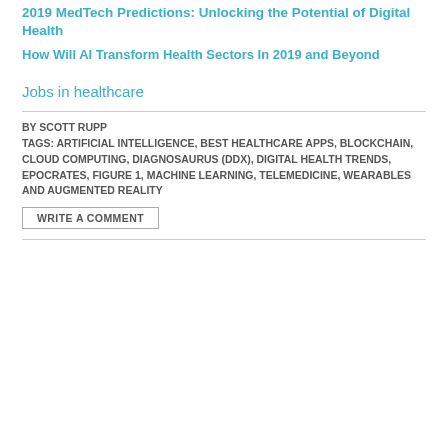2019 MedTech Predictions: Unlocking the Potential of Digital Health
How Will AI Transform Health Sectors In 2019 and Beyond
Jobs in healthcare
BY SCOTT RUPP
TAGS: ARTIFICIAL INTELLIGENCE, BEST HEALTHCARE APPS, BLOCKCHAIN, CLOUD COMPUTING, DIAGNOSAURUS (DDX), DIGITAL HEALTH TRENDS, EPOCRATES, FIGURE 1, MACHINE LEARNING, TELEMEDICINE, WEARABLES AND AUGMENTED REALITY
WRITE A COMMENT